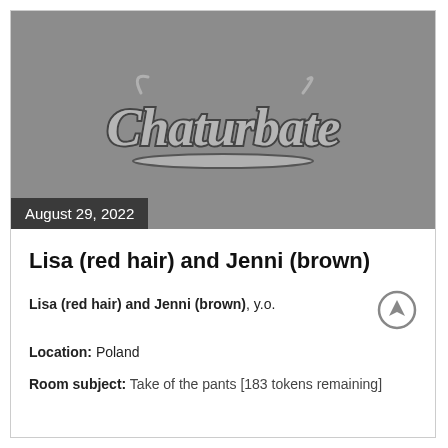[Figure (screenshot): Gray placeholder image area with Chaturbate logo centered, and a dark badge showing 'August 29, 2022' at bottom left]
Lisa (red hair) and Jenni (brown)
Lisa (red hair) and Jenni (brown), y.o.
Location: Poland
Room subject: Take of the pants [183 tokens remaining]